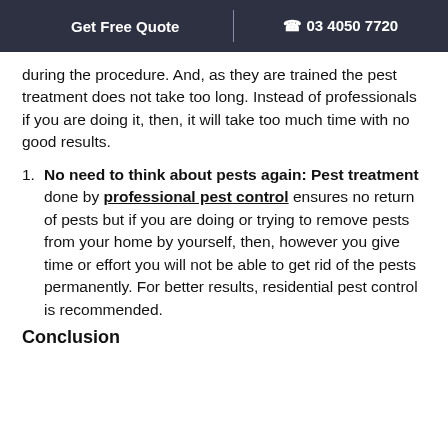Get Free Quote | 03 4050 7720
during the procedure. And, as they are trained the pest treatment does not take too long. Instead of professionals if you are doing it, then, it will take too much time with no good results.
No need to think about pests again: Pest treatment done by professional pest control ensures no return of pests but if you are doing or trying to remove pests from your home by yourself, then, however you give time or effort you will not be able to get rid of the pests permanently. For better results, residential pest control is recommended.
Conclusion